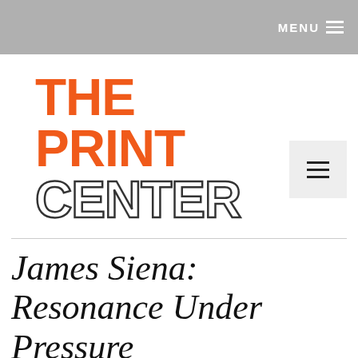MENU
[Figure (logo): The Print Center logo with THE PRINT in orange bold text and CENTER in bold outline text below]
James Siena: Resonance Under Pressure